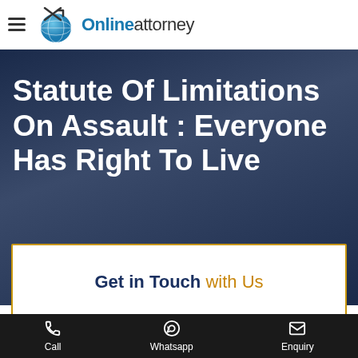Onlineattorney
Statute Of Limitations On Assault : Everyone Has Right To Live
Get in Touch with Us
Call | Whatsapp | Enquiry